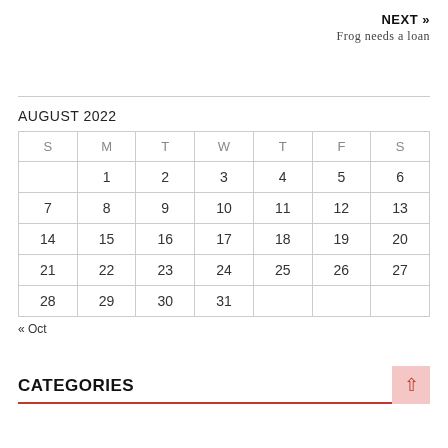NEXT » Frog needs a loan
AUGUST 2022
| S | M | T | W | T | F | S |
| --- | --- | --- | --- | --- | --- | --- |
|  | 1 | 2 | 3 | 4 | 5 | 6 |
| 7 | 8 | 9 | 10 | 11 | 12 | 13 |
| 14 | 15 | 16 | 17 | 18 | 19 | 20 |
| 21 | 22 | 23 | 24 | 25 | 26 | 27 |
| 28 | 29 | 30 | 31 |  |  |  |
« Oct
CATEGORIES